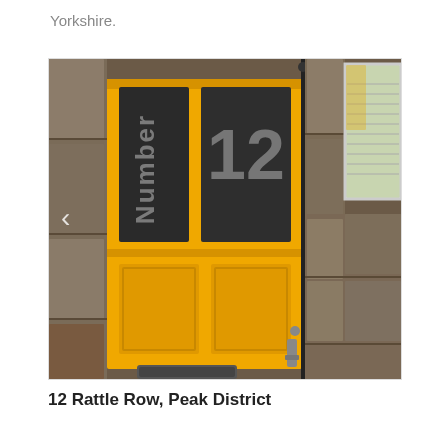Yorkshire.
[Figure (photo): A bright yellow front door with dark glass panels on which 'Number 12' is written. The door is set in a stone-clad building facade. A window is visible to the right with blinds and a yellow reflection. Green plants are in front at the lower right. A navigation arrow is visible on the left side.]
12 Rattle Row, Peak District